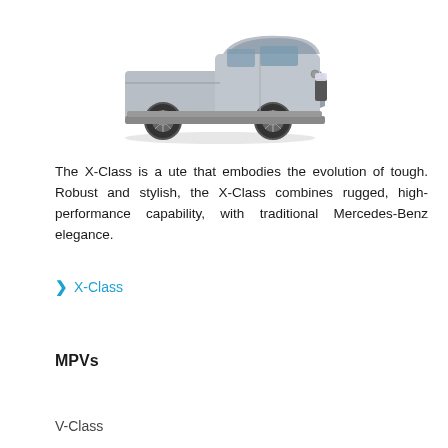[Figure (photo): Silver Mercedes-Benz X-Class pickup truck viewed from front-left angle on white background]
The X-Class is a ute that embodies the evolution of tough. Robust and stylish, the X-Class combines rugged, high-performance capability, with traditional Mercedes-Benz elegance.
> X-Class
MPVs
V-Class